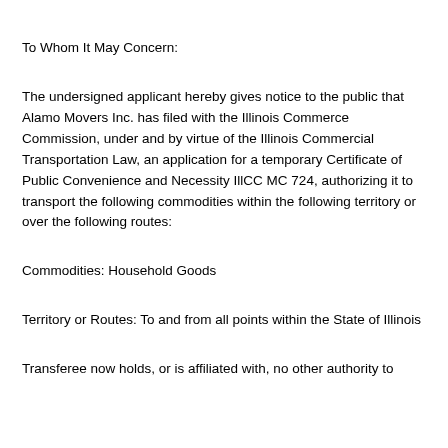To Whom It May Concern:
The undersigned applicant hereby gives notice to the public that Alamo Movers Inc. has filed with the Illinois Commerce Commission, under and by virtue of the Illinois Commercial Transportation Law, an application for a temporary Certificate of Public Convenience and Necessity IllCC MC 724, authorizing it to transport the following commodities within the following territory or over the following routes:
Commodities: Household Goods
Territory or Routes: To and from all points within the State of Illinois
Transferee now holds, or is affiliated with, no other authority to